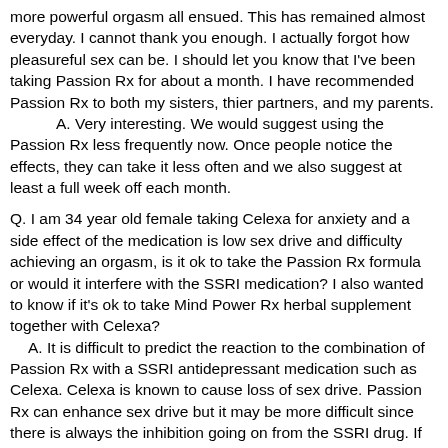more powerful orgasm all ensued. This has remained almost everyday. I cannot thank you enough. I actually forgot how pleasureful sex can be. I should let you know that I've been taking Passion Rx for about a month. I have recommended Passion Rx to both my sisters, thier partners, and my parents.
A. Very interesting. We would suggest using the Passion Rx less frequently now. Once people notice the effects, they can take it less often and we also suggest at least a full week off each month.
Q. I am 34 year old female taking Celexa for anxiety and a side effect of the medication is low sex drive and difficulty achieving an orgasm, is it ok to take the Passion Rx formula or would it interfere with the SSRI medication? I also wanted to know if it's ok to take Mind Power Rx herbal supplement together with Celexa?
A. It is difficult to predict the reaction to the combination of Passion Rx with a SSRI antidepressant medication such as Celexa. Celexa is known to cause loss of sex drive. Passion Rx can enhance sex drive but it may be more difficult since there is always the inhibition going on from the SSRI drug. If your doctor approves, you could try half a capsule of Passion Rx every other day, or two days on, one day off. And be patient for 2 weeks to one month. If you find you are